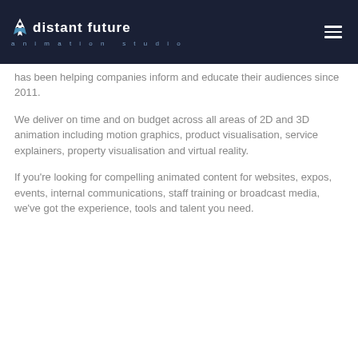[Figure (logo): Distant Future Animation Studio logo — white rocket icon and bold white text 'distant future' with teal subtitle 'animation studio' on dark navy background, with hamburger menu icon on the right]
has been helping companies inform and educate their audiences since 2011.
We deliver on time and on budget across all areas of 2D and 3D animation including motion graphics, product visualisation, service explainers, property visualisation and virtual reality.
If you're looking for compelling animated content for websites, expos, events, internal communications, staff training or broadcast media, we've got the experience, tools and talent you need.